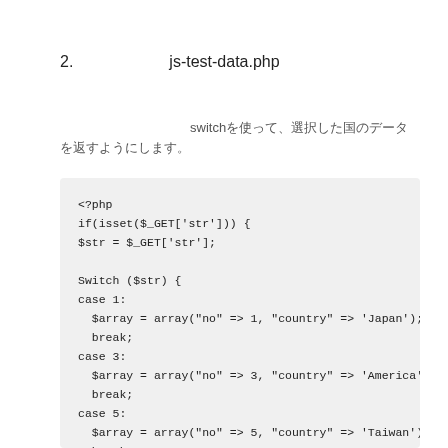2.　　　　　　js-test-data.php
switchを使って、選択した国のデータを返すようにします。
<?php
if(isset($_GET['str'])) {
$str = $_GET['str'];

Switch ($str) {
case 1:
  $array = array("no" => 1, "country" => 'Japan');
  break;
case 3:
  $array = array("no" => 3, "country" => 'America');
  break;
case 5:
  $array = array("no" => 5, "country" => 'Taiwan');
  break;
default: